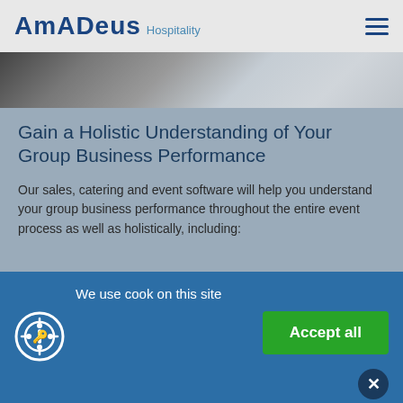AMADEUS Hospitality
[Figure (photo): Partial view of a document or desk background image strip]
Gain a Holistic Understanding of Your Group Business Performance
Our sales, catering and event software will help you understand your group business performance throughout the entire event process as well as holistically, including:
We use cook on this site
Accept all